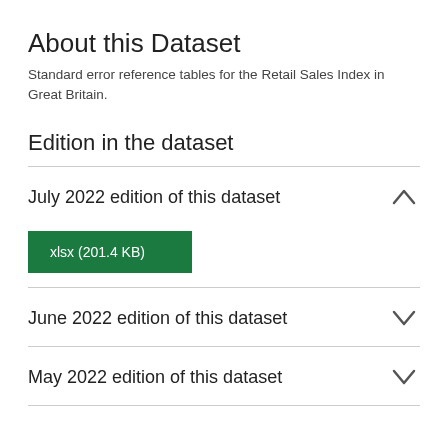About this Dataset
Standard error reference tables for the Retail Sales Index in Great Britain.
Edition in the dataset
July 2022 edition of this dataset
xlsx (201.4 KB)
June 2022 edition of this dataset
May 2022 edition of this dataset